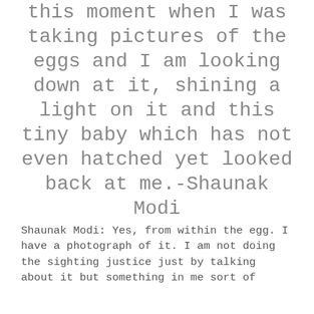this moment when I was taking pictures of the eggs and I am looking down at it, shining a light on it and this tiny baby which has not even hatched yet looked back at me.-Shaunak Modi
Shaunak Modi: Yes, from within the egg. I have a photograph of it. I am not doing the sighting justice just by talking about it but something in me sort of